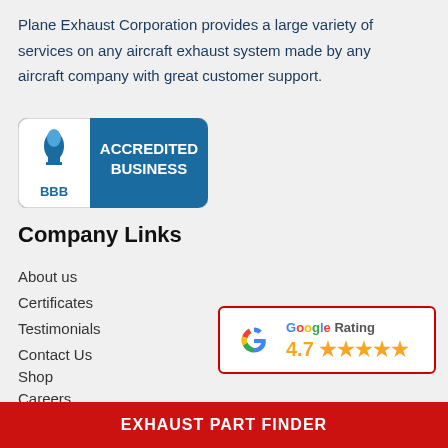Plane Exhaust Corporation provides a large variety of services on any aircraft exhaust system made by any aircraft company with great customer support.
[Figure (logo): BBB Accredited Business badge with blue background and torch flame logo]
Company Links
About us
Certificates
Testimonials
Contact Us
Shop
Careers
Privacy Policy
[Figure (infographic): Google Rating badge showing 4.7 stars with Google G logo]
EXHAUST PART FINDER